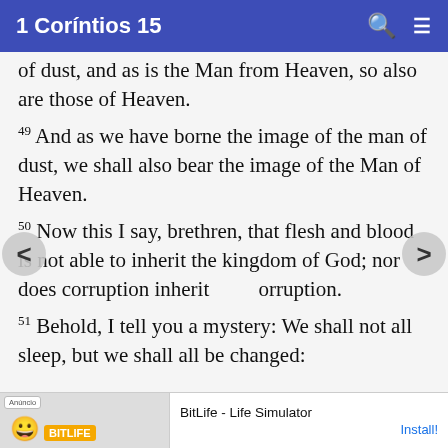1 Coríntios 15
of dust, and as is the Man from Heaven, so also are those of Heaven.
49 And as we have borne the image of the man of dust, we shall also bear the image of the Man of Heaven.
50 Now this I say, brethren, that flesh and blood is not able to inherit the kingdom of God; nor does corruption inherit corruption.
51 Behold, I tell you a mystery: We shall not all sleep, but we shall all be changed:
[Figure (screenshot): Advertisement banner for BitLife - Life Simulator app with Anúncio badge and Install button]